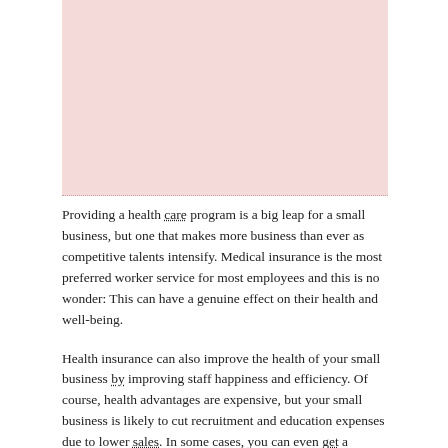[Figure (other): Pink/rose colored rectangular image area at the top of the page, with a dotted bottom border]
Providing a health care program is a big leap for a small business, but one that makes more business than ever as competitive talents intensify. Medical insurance is the most preferred worker service for most employees and this is no wonder: This can have a genuine effect on their health and well-being.
Health insurance can also improve the health of your small business by improving staff happiness and efficiency. Of course, health advantages are expensive, but your small business is likely to cut recruitment and education expenses due to lower sales. In some cases, you can even get a taxpayer benefit or use a taxpayer allowance to recover some